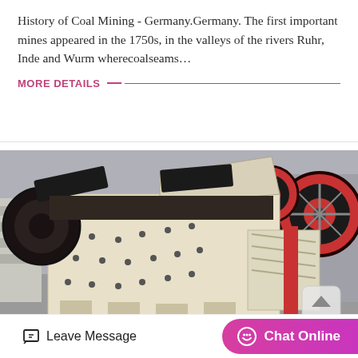History of Coal Mining - Germany.Germany. The first important mines appeared in the 1750s, in the valleys of the rivers Ruhr, Inde and Wurm wherecoalseams…
MORE DETAILS
[Figure (photo): Industrial heavy machinery - jaw crushers or impact crushers in a factory/warehouse setting. The machines are cream/beige colored with black bolted plates, large red and black flywheels visible in background.]
Leave Message
Chat Online